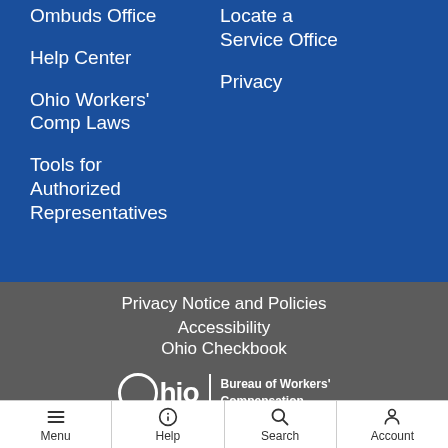Ombuds Office
Help Center
Ohio Workers' Comp Laws
Tools for Authorized Representatives
Locate a Service Office
Privacy
Privacy Notice and Policies
Accessibility
Ohio Checkbook
[Figure (logo): Ohio Bureau of Workers' Compensation logo — circle outline with 'Ohio' text, vertical divider, and 'Bureau of Workers' Compensation' text]
Menu | Help | Search | Account